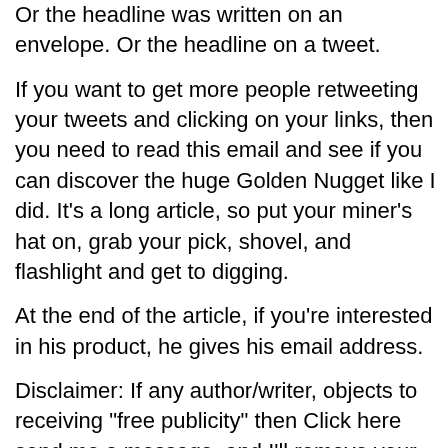Or the headline was written on an envelope. Or the headline on a tweet.
If you want to get more people retweeting your tweets and clicking on your links, then you need to read this email and see if you can discover the huge Golden Nugget like I did. It's a long article, so put your miner's hat on, grab your pick, shovel, and flashlight and get to digging.
At the end of the article, if you're interested in his product, he gives his email address.
Disclaimer: If any author/writer, objects to receiving "free publicity" then Click here send me a message, and I'll remove your content.
“On average, five times as many people read the headline as read the body copy. When you have